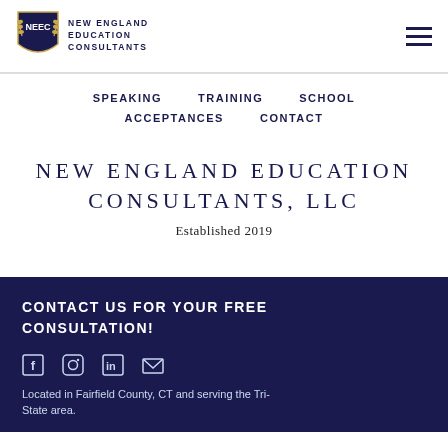[Figure (logo): NEEC shield logo with laurel wreath and text NEW ENGLAND EDUCATION CONSULTANTS]
SPEAKING
TRAINING
SCHOOL
ACCEPTANCES
CONTACT
NEW ENGLAND EDUCATION CONSULTANTS, LLC
Established 2019
CONTACT US FOR YOUR FREE CONSULTATION!
[Figure (illustration): Social media icons: Facebook, Instagram, LinkedIn, Email]
Located in Fairfield County, CT and serving the Tri-State area.